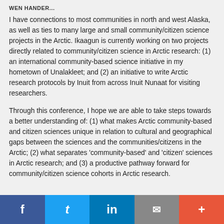I have connections to most communities in north and west Alaska, as well as ties to many large and small community/citizen science projects in the Arctic. Ikaagun is currently working on two projects directly related to community/citizen science in Arctic research: (1) an international community-based science initiative in my hometown of Unalakleet; and (2) an initiative to write Arctic research protocols by Inuit from across Inuit Nunaat for visiting researchers.
Through this conference, I hope we are able to take steps towards a better understanding of: (1) what makes Arctic community-based and citizen sciences unique in relation to cultural and geographical gaps between the sciences and the communities/citizens in the Arctic; (2) what separates 'community-based' and 'citizen' sciences in Arctic research; and (3) a productive pathway forward for community/citizen science cohorts in Arctic research.
f  t  in  ✉  +